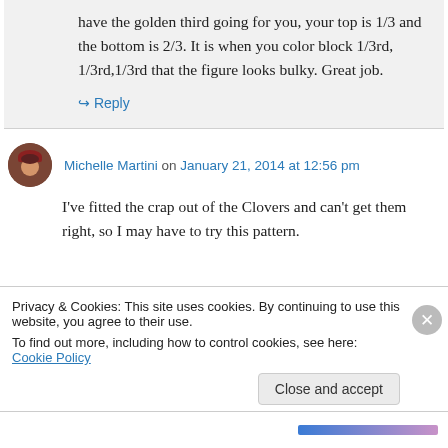have the golden third going for you, your top is 1/3 and the bottom is 2/3. It is when you color block 1/3rd, 1/3rd,1/3rd that the figure looks bulky. Great job.
↳ Reply
Michelle Martini on January 21, 2014 at 12:56 pm
I've fitted the crap out of the Clovers and can't get them right, so I may have to try this pattern.
Privacy & Cookies: This site uses cookies. By continuing to use this website, you agree to their use.
To find out more, including how to control cookies, see here: Cookie Policy
Close and accept